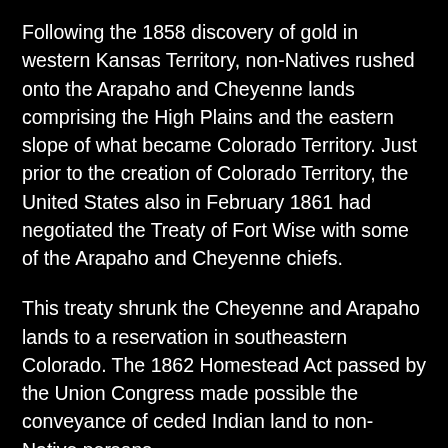Following the 1858 discovery of gold in western Kansas Territory, non-Natives rushed onto the Arapaho and Cheyenne lands comprising the High Plains and the eastern slope of what became Colorado Territory. Just prior to the creation of Colorado Territory, the United States also in February 1861 had negotiated the Treaty of Fort Wise with some of the Arapaho and Cheyenne chiefs.
This treaty shrunk the Cheyenne and Arapaho lands to a reservation in southeastern Colorado. The 1862 Homestead Act passed by the Union Congress made possible the conveyance of ceded Indian land to non-Native persons.
A peaceful village led by Left Hand of the Arapaho and Black Kettle of the Cheyenne, along with